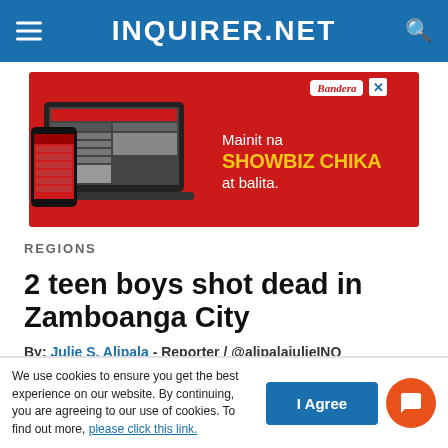INQUIRER.NET
[Figure (infographic): Red advertisement banner for Bandera newspaper app showing laptop and phone with text: Mainit na SHOWBIZ CHIKA at balita.]
REGIONS
2 teen boys shot dead in Zamboanga City
By: Julie S. Alipala - Reporter / @alipalajulieINQ
Inquirer Mindanao / 06:46 PM November 02, 2016
We use cookies to ensure you get the best experience on our website. By continuing, you are agreeing to our use of cookies. To find out more, please click this link.